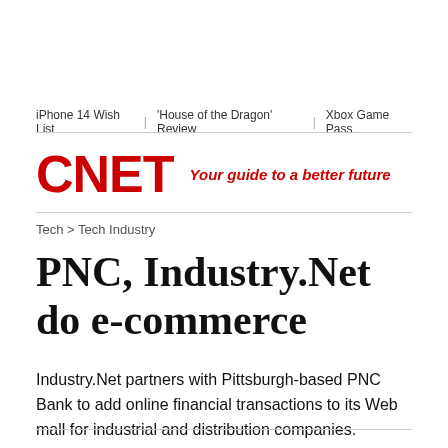iPhone 14 Wish List | 'House of the Dragon' Review | Xbox Game Pass
[Figure (logo): CNET logo in red with tagline 'Your guide to a better future' in red italic]
Tech > Tech Industry
PNC, Industry.Net do e-commerce
Industry.Net partners with Pittsburgh-based PNC Bank to add online financial transactions to its Web mall for industrial and distribution companies.